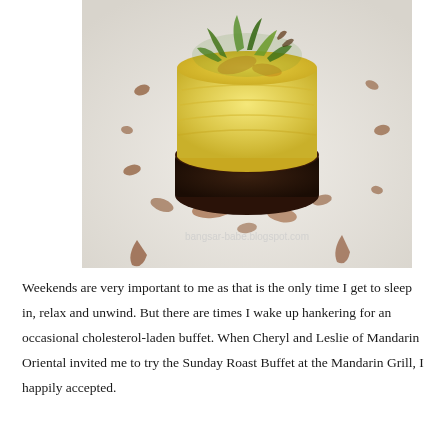[Figure (photo): A plated dish showing a cylindrical stack of shepherd's pie or cottage pie — a dark meat base topped with creamy mashed potato, garnished with green salad leaves on top, served on a white plate with decorative brown sauce drizzles. Watermark reads 'bangsar-babe.blogspot.com'.]
Weekends are very important to me as that is the only time I get to sleep in, relax and unwind. But there are times I wake up hankering for an occasional cholesterol-laden buffet. When Cheryl and Leslie of Mandarin Oriental invited me to try the Sunday Roast Buffet at the Mandarin Grill, I happily accepted.